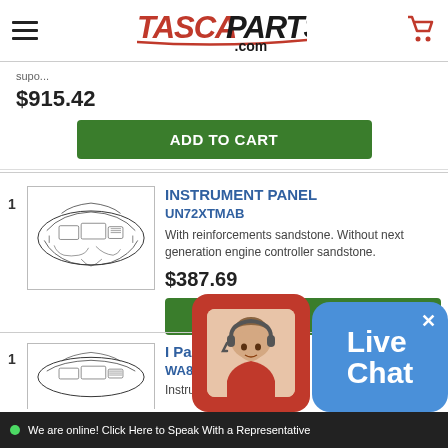TascaParts.com
$915.42
ADD TO CART
[Figure (illustration): Line drawing of an instrument panel/dashboard part for a vehicle]
INSTRUMENT PANEL
UN72XTMAB
With reinforcements sandstone. Without next generation engine controller sandstone.
$387.69
ADD TO CART
[Figure (illustration): Line drawing of a second instrument panel/dashboard part]
I Pa...
WA8...
Instrument Panel...
[Figure (infographic): Live Chat widget with agent avatar in red bubble and 'Live Chat' text in blue bubble]
We are online! Click Here to Speak With a Representative